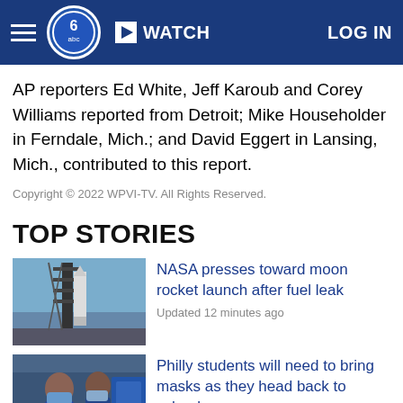WATCH | LOG IN
AP reporters Ed White, Jeff Karoub and Corey Williams reported from Detroit; Mike Householder in Ferndale, Mich.; and David Eggert in Lansing, Mich., contributed to this report.
Copyright © 2022 WPVI-TV. All Rights Reserved.
TOP STORIES
[Figure (photo): Photo of a rocket on a launch pad against a blue sky]
NASA presses toward moon rocket launch after fuel leak
Updated 12 minutes ago
[Figure (photo): Photo of students wearing masks]
Philly students will need to bring masks as they head back to school
Updated an hour ago